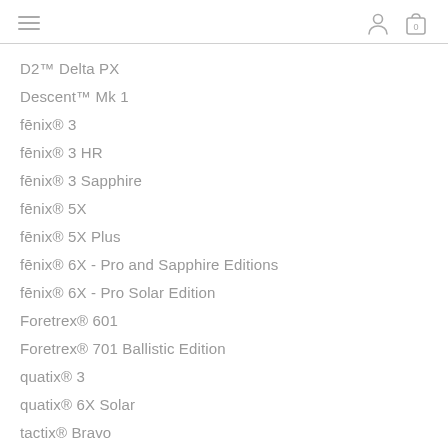navigation header with hamburger menu, user icon, and cart icon with 0
D2™ Delta PX
Descent™ Mk 1
fēnix® 3
fēnix® 3 HR
fēnix® 3 Sapphire
fēnix® 5X
fēnix® 5X Plus
fēnix® 6X - Pro and Sapphire Editions
fēnix® 6X - Pro Solar Edition
Foretrex® 601
Foretrex® 701 Ballistic Edition
quatix® 3
quatix® 6X Solar
tactix® Bravo
tactix® Charlie